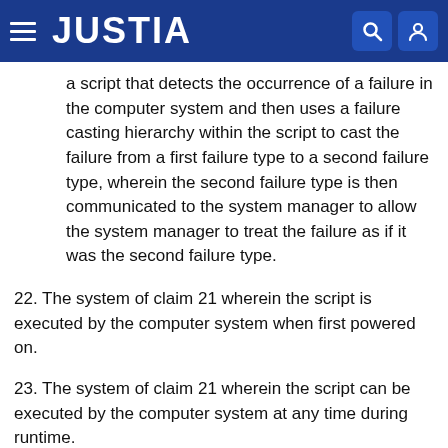JUSTIA
a script that detects the occurrence of a failure in the computer system and then uses a failure casting hierarchy within the script to cast the failure from a first failure type to a second failure type, wherein the second failure type is then communicated to the system manager to allow the system manager to treat the failure as if it was the second failure type.
22. The system of claim 21 wherein the script is executed by the computer system when first powered on.
23. The system of claim 21 wherein the script can be executed by the computer system at any time during runtime.
24. The system of claim 21 wherein the computer system